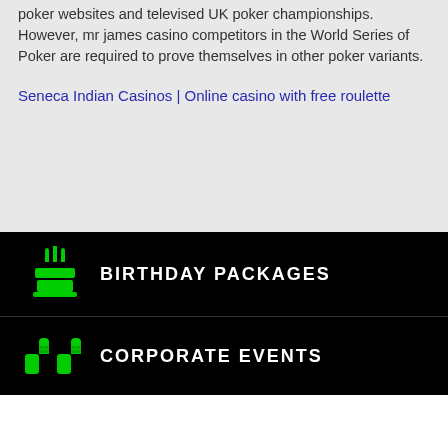poker websites and televised UK poker championships. However, mr james casino competitors in the World Series of Poker are required to prove themselves in other poker variants.
Seneca Indian Casinos | Online casino with free roulette
BIRTHDAY PACKAGES
CORPORATE EVENTS